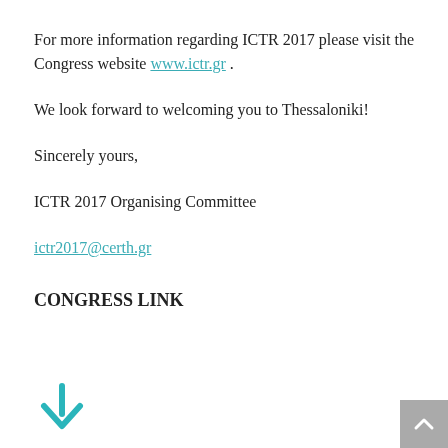For more information regarding ICTR 2017 please visit the Congress website www.ictr.gr .
We look forward to welcoming you to Thessaloniki!
Sincerely yours,
ICTR 2017 Organising Committee
ictr2017@certh.gr
CONGRESS LINK
[Figure (other): Teal downward arrow icon indicating scroll down or navigation]